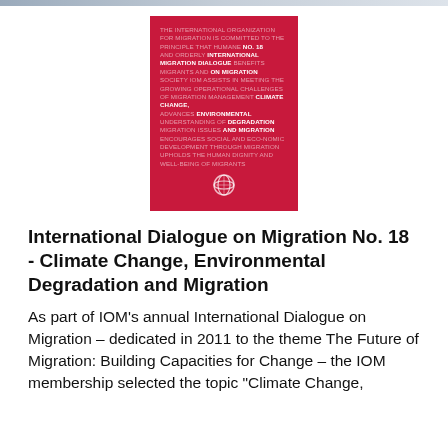[Figure (illustration): Book cover with red background for 'International Dialogue on Migration No. 18 - Climate Change, Environmental Degradation and Migration'. Cover features white and bold white text in all-caps typography with IOM logo at bottom.]
International Dialogue on Migration No. 18 - Climate Change, Environmental Degradation and Migration
As part of IOM’s annual International Dialogue on Migration – dedicated in 2011 to the theme The Future of Migration: Building Capacities for Change – the IOM membership selected the topic "Climate Change,